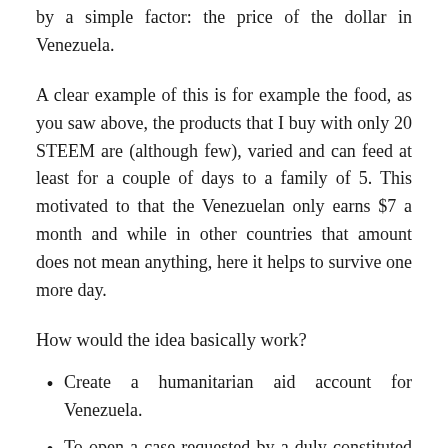by a simple factor: the price of the dollar in Venezuela.
A clear example of this is for example the food, as you saw above, the products that I buy with only 20 STEEM are (although few), varied and can feed at least for a couple of days to a family of 5. This motivated to that the Venezuelan only earns $7 a month and while in other countries that amount does not mean anything, here it helps to survive one more day.
How would the idea basically work?
Create a humanitarian aid account for Venezuela.
To open a case requested by a duly constituted national foundation.